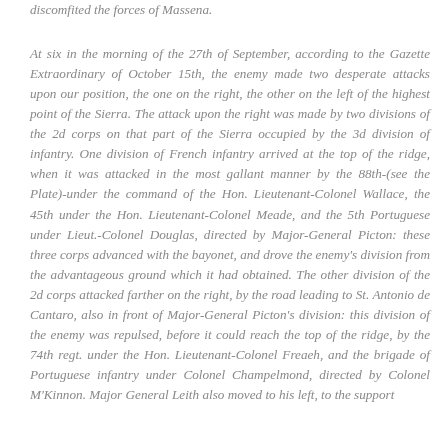discomfited the forces of Massena.
At six in the morning of the 27th of September, according to the Gazette Extraordinary of October 15th, the enemy made two desperate attacks upon our position, the one on the right, the other on the left of the highest point of the Sierra. The attack upon the right was made by two divisions of the 2d corps on that part of the Sierra occupied by the 3d division of infantry. One division of French infantry arrived at the top of the ridge, when it was attacked in the most gallant manner by the 88th-(see the Plate)-under the command of the Hon. Lieutenant-Colonel Wallace, the 45th under the Hon. Lieutenant-Colonel Meade, and the 5th Portuguese under Lieut.-Colonel Douglas, directed by Major-General Picton: these three corps advanced with the bayonet, and drove the enemy's division from the advantageous ground which it had obtained. The other division of the 2d corps attacked farther on the right, by the road leading to St. Antonio de Cantaro, also in front of Major-General Picton's division: this division of the enemy was repulsed, before it could reach the top of the ridge, by the 74th regt. under the Hon. Lieutenant-Colonel Freaeh, and the brigade of Portuguese infantry under Colonel Champelmond, directed by Colonel M'Kinnon. Major General Leith also moved to his left, to the support